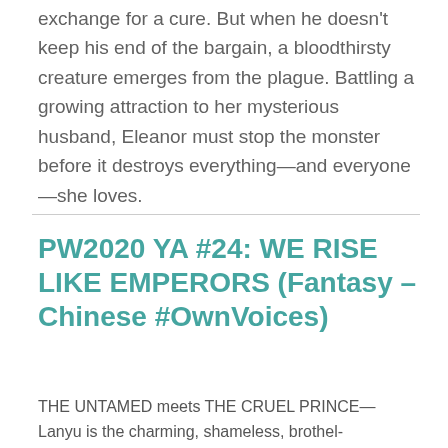exchange for a cure. But when he doesn't keep his end of the bargain, a bloodthirsty creature emerges from the plague. Battling a growing attraction to her mysterious husband, Eleanor must stop the monster before it destroys everything—and everyone—she loves.
PW2020 YA #24: WE RISE LIKE EMPERORS (Fantasy – Chinese #OwnVoices)
THE UNTAMED meets THE CRUEL PRINCE—
Lanyu is the charming, shameless, brothel-